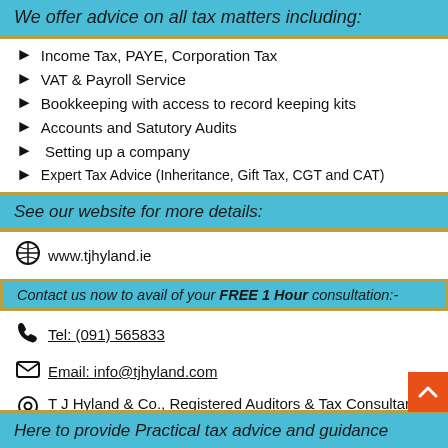We offer advice on all tax matters including:
Income Tax, PAYE, Corporation Tax
VAT & Payroll Service
Bookkeeping with access to record keeping kits
Accounts and Satutory Audits
Setting up a company
Expert Tax Advice (Inheritance, Gift Tax, CGT and CAT)
See our website for more details:
www.tjhyland.ie
Contact us now to avail of your FREE 1 Hour consultation:-
Tel: (091) 565833
Email: info@tjhyland.com
T J Hyland & Co., Registered Auditors & Tax Consultants, Steamship House, Dock St., Galway
Here to provide Practical tax advice and guidance